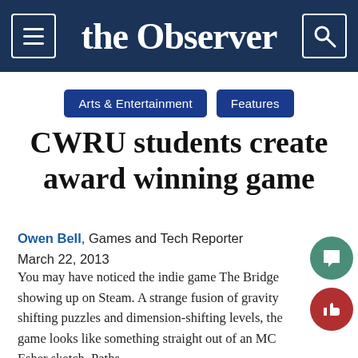the Observer
Arts & Entertainment   Features
CWRU students create award winning game
Owen Bell, Games and Tech Reporter
March 22, 2013
You may have noticed the indie game The Bridge showing up on Steam. A strange fusion of gravity shifting puzzles and dimension-shifting levels, the game looks like something straight out of an MC Esher sketch. Paths